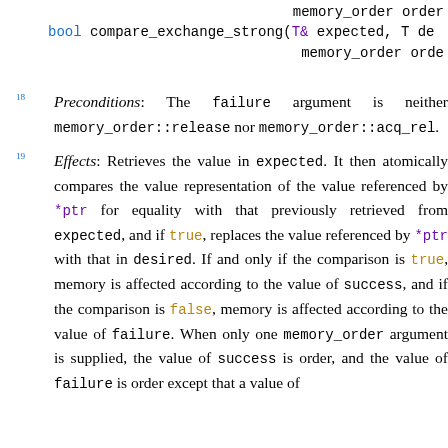memory_order order
bool compare_exchange_strong(T& expected, T de
                              memory_order orde
18  Preconditions: The failure argument is neither memory_order::release nor memory_order::acq_rel.
19  Effects: Retrieves the value in expected. It then atomically compares the value representation of the value referenced by *ptr for equality with that previously retrieved from expected, and if true, replaces the value referenced by *ptr with that in desired. If and only if the comparison is true, memory is affected according to the value of success, and if the comparison is false, memory is affected according to the value of failure. When only one memory_order argument is supplied, the value of success is order, and the value of failure is order except that a value of